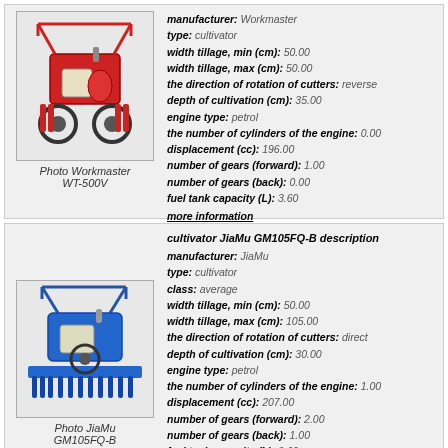[Figure (photo): Red Workmaster WT-500V cultivator/tiller machine]
Photo Workmaster WT-500V
manufacturer: Workmaster
type: cultivator
width tillage, min (cm): 50.00
width tillage, max (cm): 50.00
the direction of rotation of cutters: reverse
depth of cultivation (cm): 35.00
engine type: petrol
the number of cylinders of the engine: 0.00
displacement (cc): 196.00
number of gears (forward): 1.00
number of gears (back): 0.00
fuel tank capacity (L): 3.60
more information
[Figure (photo): Blue JiaMu GM105FQ-B cultivator/tiller machine]
Photo JiaMu GM105FQ-B
cultivator JiaMu GM105FQ-B description
manufacturer: JiaMu
type: cultivator
class: average
width tillage, min (cm): 50.00
width tillage, max (cm): 105.00
the direction of rotation of cutters: direct
depth of cultivation (cm): 30.00
engine type: petrol
the number of cylinders of the engine: 1.00
displacement (cc): 207.00
number of gears (forward): 2.00
number of gears (back): 1.00
fuel tank capacity (L): 3.60
weight (kg): 70.00
length (mm): 960.00
width (mm): 560.00